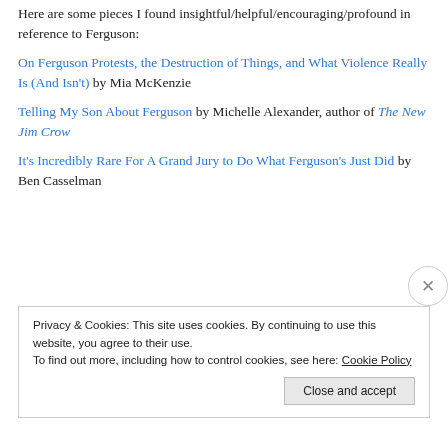Here are some pieces I found insightful/helpful/encouraging/profound in reference to Ferguson:
On Ferguson Protests, the Destruction of Things, and What Violence Really Is (And Isn't) by Mia McKenzie
Telling My Son About Ferguson by Michelle Alexander, author of The New Jim Crow
It's Incredibly Rare For A Grand Jury to Do What Ferguson's Just Did by Ben Casselman
Privacy & Cookies: This site uses cookies. By continuing to use this website, you agree to their use. To find out more, including how to control cookies, see here: Cookie Policy